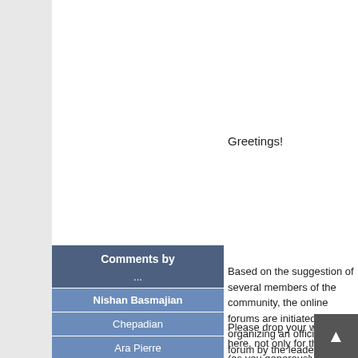Greetings!
Comments by ...
Nishan Basmajian
Chepadian
Ara Pierre
Keusseyan
Hye Aghchig
Hye Dgha
Based on the suggestion of several members of the community, the online forums are initiated as a pre organizing an official open forum by the leaders of
Please drop your word here, not only for the Hye L (as you generously did at the end of the related rep other subjects that concern our community.